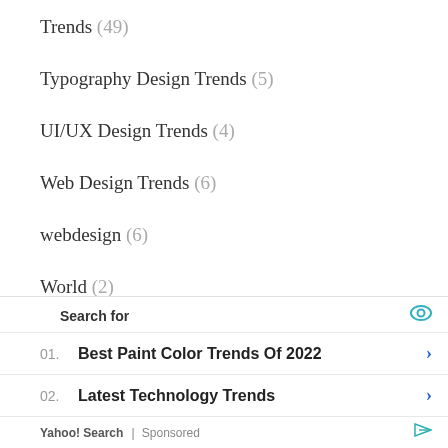Trends (49)
Typography Design Trends (5)
UI/UX Design Trends (4)
Web Design Trends (6)
webdesign (6)
World (2)
META
Log in
Entries feed
Search for
01.  Best Paint Color Trends Of 2022
02.  Latest Technology Trends
Yahoo! Search | Sponsored